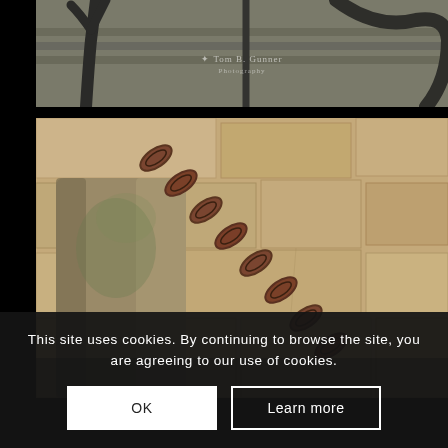[Figure (photo): Close-up photo of dark forged iron/metal objects that appear to be andirons or fire tools against a background suggesting outdoor stone setting, with a watermark reading 'Tom B. Gunner Photography']
[Figure (photo): Close-up photo of a worn cylindrical stone or concrete post with a heavy rusty iron chain draped over it, set against a rough limestone or sandstone wall background]
This site uses cookies. By continuing to browse the site, you are agreeing to our use of cookies.
OK
Learn more